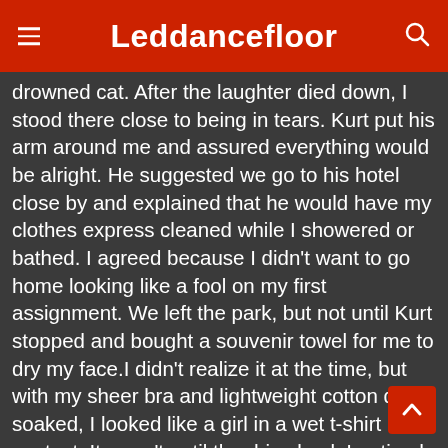Leddancefloor
drowned cat. After the laughter died down, I stood there close to being in tears. Kurt put his arm around me and assured everything would be alright. He suggested we go to his hotel close by and explained that he would have my clothes express cleaned while I showered or bathed. I agreed because I didn't want to go home looking like a fool on my first assignment. We left the park, but not until Kurt stopped and bought a souvenir towel for me to dry my face.I didn't realize it at the time, but with my sheer bra and lightweight cotton dress soaked, I looked like a girl in a wet t-shirt contest. It wasn't until the drive back I noticed my dress clung to me like a second skin and my nipples were poking out of the wet material like pebbles.He was aware of my embarrassment and said lightheartedly that it was a good look on me.Since I met Kurt, the sexual tension between us was undeniable. He wasn't just gorgeous to look at, but was very smooth in his gentlemanly mannerisms. The way